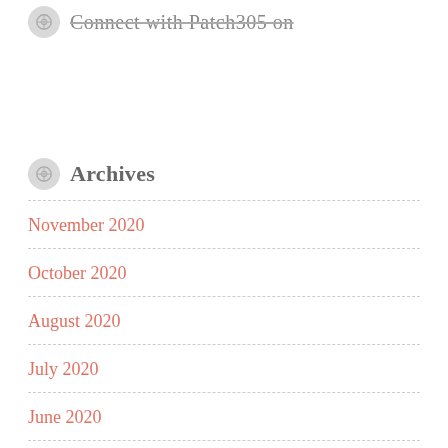Connect with Patch305 on
Archives
November 2020
October 2020
August 2020
July 2020
June 2020
May 2020
February 2020